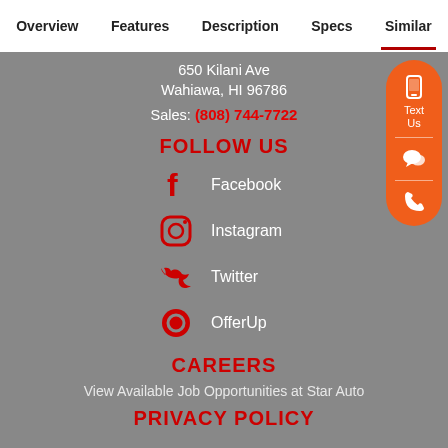Overview | Features | Description | Specs | Similar
650 Kilani Ave
Wahiawa, HI 96786
Sales: (808) 744-7722
FOLLOW US
Facebook
Instagram
Twitter
OfferUp
CAREERS
View Available Job Opportunities at Star Auto
PRIVACY POLICY